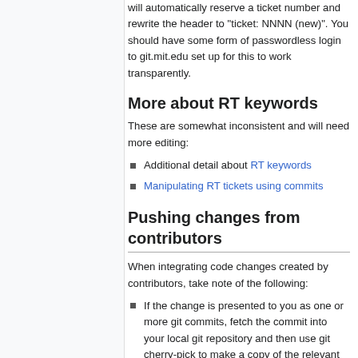will automatically reserve a ticket number and rewrite the header to "ticket: NNNN (new)". You should have some form of passwordless login to git.mit.edu set up for this to work transparently.
More about RT keywords
These are somewhat inconsistent and will need more editing:
Additional detail about RT keywords
Manipulating RT tickets using commits
Pushing changes from contributors
When integrating code changes created by contributors, take note of the following:
If the change is presented to you as one or more git commits, fetch the commit into your local git repository and then use git cherry-pick to make a copy of the relevant commits onto your master branch (or a topic branch). Do not use git merge.